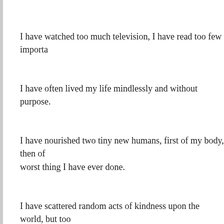I have watched too much television, I have read too few importa…
I have often lived my life mindlessly and without purpose.
I have nourished two tiny new humans, first of my body, then of… worst thing I have ever done.
I have scattered random acts of kindness upon the world, but too…
I have remained devoted only to my habit of smiling at strangers…